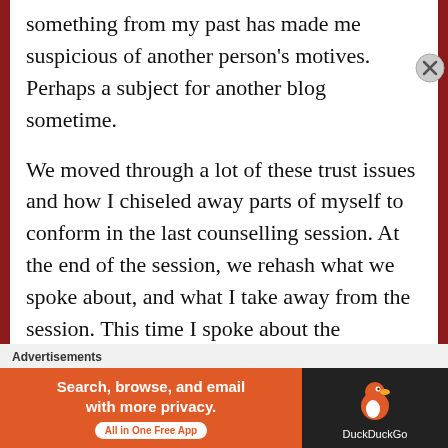something from my past has made me suspicious of another person's motives. Perhaps a subject for another blog sometime.
We moved through a lot of these trust issues and how I chiseled away parts of myself to conform in the last counselling session. At the end of the session, we rehash what we spoke about, and what I take away from the session. This time I spoke about the
Advertisements
[Figure (other): DuckDuckGo advertisement banner. Left side orange background with text 'Search, browse, and email with more privacy.' and button 'All in One Free App'. Right side dark background with DuckDuckGo duck logo and 'DuckDuckGo' label.]